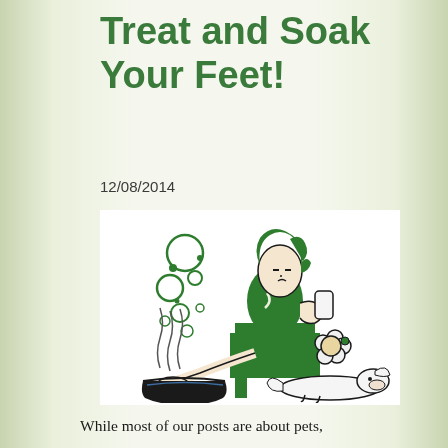Treat and Soak Your Feet!
12/08/2014
[Figure (illustration): Cartoon illustration in green and black of a woman sitting on a chair soaking her foot in a basin of water with steam rising, bubbles floating up, holding a flower, with a dog lying beside her.]
While most of our posts are about pets,